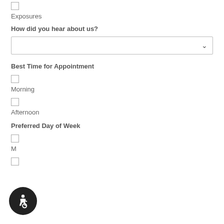Exposures
How did you hear about us?
Best Time for Appointment
Morning
Afternoon
Preferred Day of Week
M
[Figure (logo): Accessibility icon button - wheelchair symbol in white on black circular background]